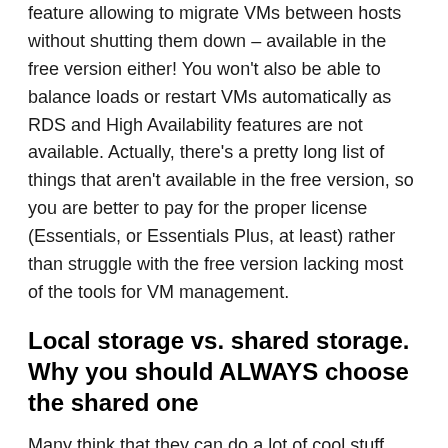feature allowing to migrate VMs between hosts without shutting them down – available in the free version either! You won't also be able to balance loads or restart VMs automatically as RDS and High Availability features are not available. Actually, there's a pretty long list of things that aren't available in the free version, so you are better to pay for the proper license (Essentials, or Essentials Plus, at least) rather than struggle with the free version lacking most of the tools for VM management.
Local storage vs. shared storage. Why you should ALWAYS choose the shared one
Many think that they can do a lot of cool stuff without shared storage. Hmm, what about High Availability, DRS, vMotion, and so on? You need shared storage...